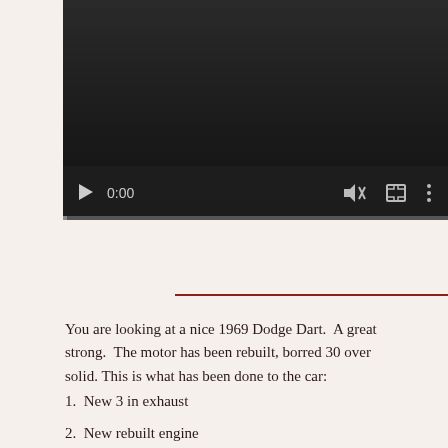[Figure (screenshot): Video player screenshot showing a dark video with playback controls: play button, time display showing 0:00, mute button, fullscreen button, and options menu. A progress bar is visible at the bottom.]
You are looking at a nice 1969 Dodge Dart.  A great strong.  The motor has been rebuilt, borred 30 over solid. This is what has been done to the car:
1.  New 3 in exhaust
2.  New rebuilt engine